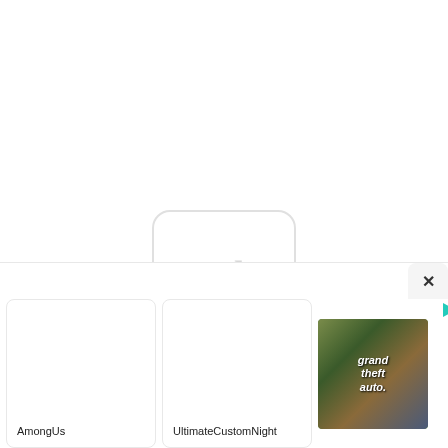[Figure (other): Ad placeholder icon: rounded rectangle with 'ad' text in light gray]
[Figure (screenshot): Bottom UI bar with a close X button and three game/app cards: AmongUs, UltimateCustomNight, and a GTA V sponsored card with play icon and game artwork]
AmongUs
UltimateCustomNight